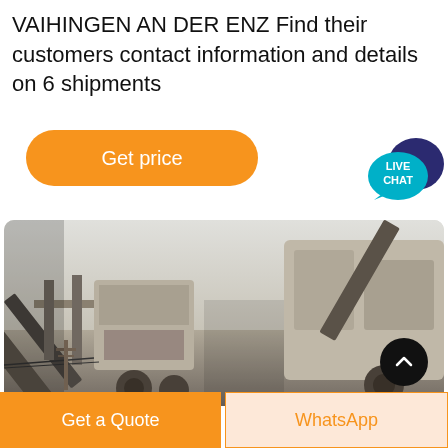VAIHINGEN AN DER ENZ Find their customers contact information and details on 6 shipments
[Figure (illustration): Orange 'Get price' button with rounded corners]
[Figure (illustration): Live Chat speech bubble icon with teal and dark blue circles]
[Figure (photo): Industrial machinery / quarry equipment with conveyor belts and large metal structures, outdoor setting]
[Figure (illustration): Black circular scroll-up button with chevron arrow]
[Figure (illustration): Bottom bar with orange 'Get a Quote' button and light orange 'WhatsApp' button]